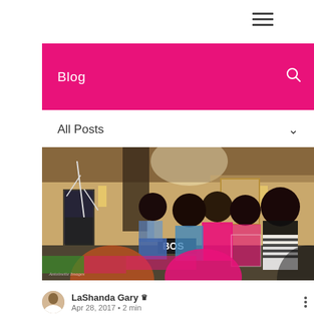☰ (hamburger menu icon)
Blog
All Posts
[Figure (photo): Indoor event or conference scene with multiple women gathered around vendor tables. Room has warm lighting from wall sconces. Visible signage includes 'BOS'. Some attendees wear pink outfits. Decorative bare white branches visible on left. Watermark in lower left corner reads 'Antoinette Images'.]
LaShanda Gary 👑
Apr 28, 2017 · 2 min